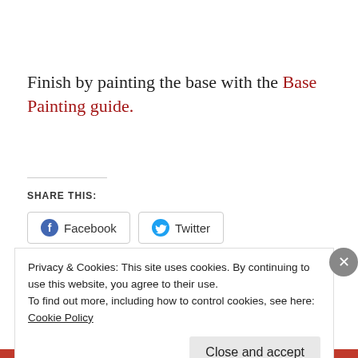Finish by painting the base with the Base Painting guide.
Share this:
Facebook  Twitter
Loading
Privacy & Cookies: This site uses cookies. By continuing to use this website, you agree to their use.
To find out more, including how to control cookies, see here:
Cookie Policy
Close and accept